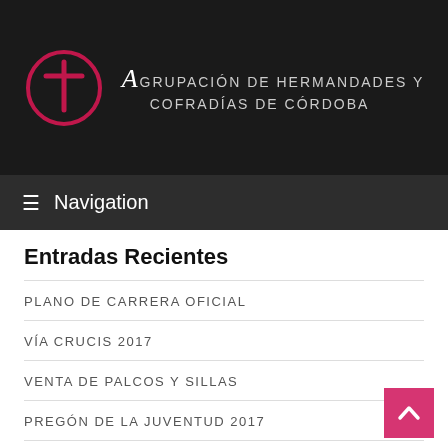Agrupación de Hermandades y Cofradías de Córdoba
≡ Navigation
Entradas Recientes
PLANO DE CARRERA OFICIAL
VÍA CRUCIS 2017
VENTA DE PALCOS Y SILLAS
PREGÓN DE LA JUVENTUD 2017
CÓRDOBA COFRADE DE CUARESMA